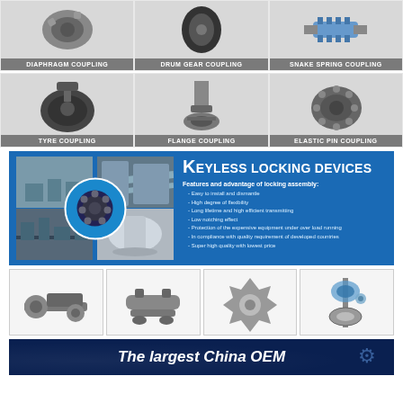[Figure (photo): Diaphragm coupling product photo with label]
[Figure (photo): Drum gear coupling product photo with label]
[Figure (photo): Snake spring coupling product photo with label]
[Figure (photo): Tyre coupling product photo with label]
[Figure (photo): Flange coupling product photo with label]
[Figure (photo): Elastic pin coupling product photo with label]
[Figure (infographic): Keyless locking devices section with blue background, industrial photos, product images, title 'KEYLESS LOCKING DEVICES' and features/advantages list]
[Figure (photo): Four mechanical parts/sprockets product photos in grid]
The largest China OEM